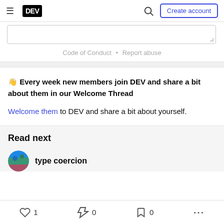DEV — Create account
Code of Conduct • Report abuse
👋 Every week new members join DEV and share a bit about them in our Welcome Thread
Welcome them to DEV and share a bit about yourself.
Read next
type coercion
1  0  0  ...